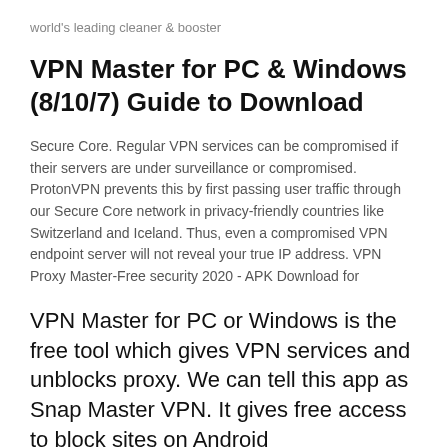world's leading cleaner & booster
VPN Master for PC & Windows (8/10/7) Guide to Download
Secure Core. Regular VPN services can be compromised if their servers are under surveillance or compromised. ProtonVPN prevents this by first passing user traffic through our Secure Core network in privacy-friendly countries like Switzerland and Iceland. Thus, even a compromised VPN endpoint server will not reveal your true IP address. VPN Proxy Master-Free security 2020 - APK Download for
VPN Master for PC or Windows is the free tool which gives VPN services and unblocks proxy. We can tell this app as Snap Master VPN. It gives free access to block sites on Android